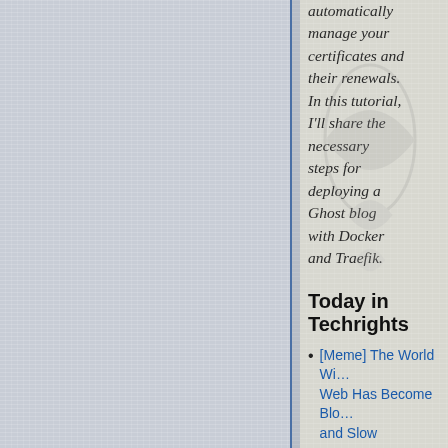automatically manage your certificates and their renewals. In this tutorial, I'll share the necessary steps for deploying a Ghost blog with Docker and Traefik.
Today in Techrights
[Meme] The World Wide Web Has Become Bloated and Slow
Gemini Graduating to First Class Citizen
Links 27/06/2022: New Curl and Okular Digital...